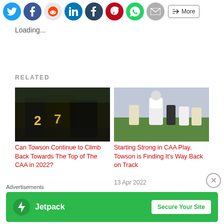[Figure (screenshot): Social share buttons row: Twitter (blue circle), Facebook (blue circle), Reddit (gray circle), LinkedIn (blue circle), Tumblr (dark blue circle), Pinterest (red circle), WhatsApp (green circle), Email (gray circle), More button]
Loading...
RELATED
[Figure (photo): Lacrosse players in black and gold uniforms celebrating on field]
Can Towson Continue to Climb Back Towards The Top of The CAA in 2022?
[Figure (photo): Lacrosse player in white and gold uniform running on field with other players and referee in background]
Starting Strong in CAA Play, Towson is Finding It's Way Back on Track
13 Apr 2022
Advertisements
[Figure (screenshot): Jetpack advertisement banner: green background with Jetpack logo and 'Secure Your Site' button]